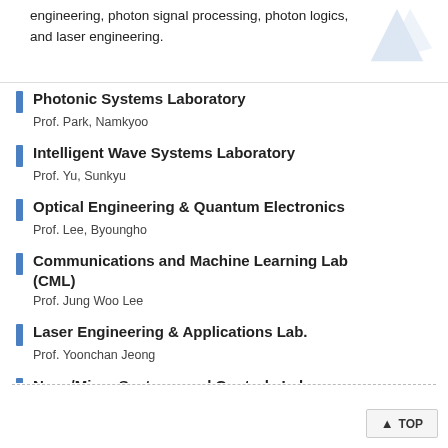engineering, photon signal processing, photon logics, and laser engineering.
Photonic Systems Laboratory
Prof. Park, Namkyoo
Intelligent Wave Systems Laboratory
Prof. Yu, Sunkyu
Optical Engineering & Quantum Electronics
Prof. Lee, Byoungho
Communications and Machine Learning Lab (CML)
Prof. Jung Woo Lee
Laser Engineering & Applications Lab.
Prof. Yoonchan Jeong
Nano/Micro Systems and Controls Lab.
Prof. Cho, Dong-il